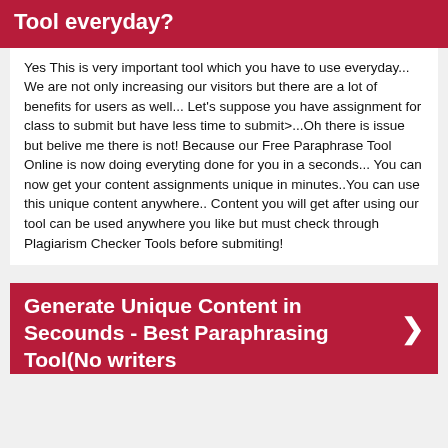Tool everyday?
Yes This is very important tool which you have to use everyday... We are not only increasing our visitors but there are a lot of benefits for users as well... Let's suppose you have assignment for class to submit but have less time to submit>...Oh there is issue but belive me there is not! Because our Free Paraphrase Tool Online is now doing everyting done for you in a seconds... You can now get your content assignments unique in minutes..You can use this unique content anywhere.. Content you will get after using our tool can be used anywhere you like but must check through Plagiarism Checker Tools before submiting!
Generate Unique Content in Secounds - Best Paraphrasing Tool(No writers